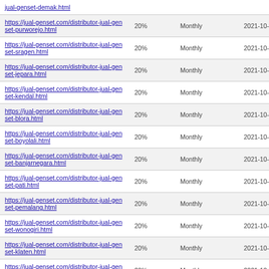| URL | Priority | Change Frequency | Last Modified |
| --- | --- | --- | --- |
| https://jual-genset.com/distributor-jual-genset-demak.html (partial) | 20% | Monthly |  |
| https://jual-genset.com/distributor-jual-genset-purworejo.html | 20% | Monthly | 2021-10-24 18:23 |
| https://jual-genset.com/distributor-jual-genset-sragen.html | 20% | Monthly | 2021-10-24 18:22 |
| https://jual-genset.com/distributor-jual-genset-jepara.html | 20% | Monthly | 2021-10-24 18:21 |
| https://jual-genset.com/distributor-jual-genset-kendal.html | 20% | Monthly | 2021-10-24 18:19 |
| https://jual-genset.com/distributor-jual-genset-blora.html | 20% | Monthly | 2021-10-24 18:17 |
| https://jual-genset.com/distributor-jual-genset-boyolali.html | 20% | Monthly | 2021-10-24 18:15 |
| https://jual-genset.com/distributor-jual-genset-banjarnegara.html | 20% | Monthly | 2021-10-24 18:14 |
| https://jual-genset.com/distributor-jual-genset-pati.html | 20% | Monthly | 2021-10-24 18:13 |
| https://jual-genset.com/distributor-jual-genset-pemalang.html | 20% | Monthly | 2021-10-24 18:11 |
| https://jual-genset.com/distributor-jual-genset-wonogiri.html | 20% | Monthly | 2021-10-24 18:10 |
| https://jual-genset.com/distributor-jual-genset-klaten.html | 20% | Monthly | 2021-10-24 18:08 |
| https://jual-genset.com/distributor-jual-genset-kebumen.html | 20% | Monthly | 2021-10-24 18:07 |